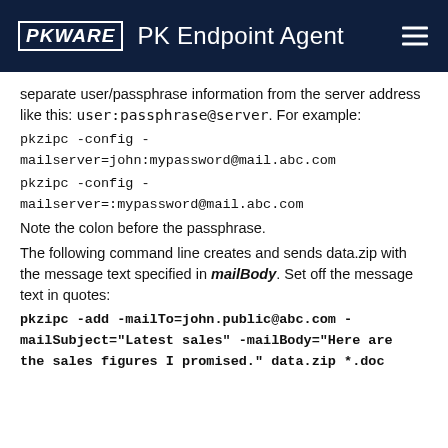PKWARE  PK Endpoint Agent
separate user/passphrase information from the server address like this: user:passphrase@server. For example:
Note the colon before the passphrase.
The following command line creates and sends data.zip with the message text specified in mailBody. Set off the message text in quotes: